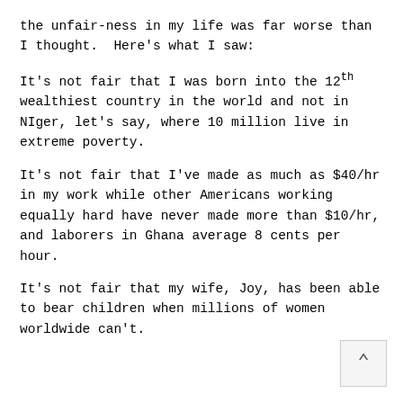the unfair-ness in my life was far worse than I thought.  Here's what I saw:
It's not fair that I was born into the 12th wealthiest country in the world and not in NIger, let's say, where 10 million live in extreme poverty.
It's not fair that I've made as much as $40/hr in my work while other Americans working equally hard have never made more than $10/hr, and laborers in Ghana average 8 cents per hour.
It's not fair that my wife, Joy, has been able to bear children when millions of women worldwide can't.